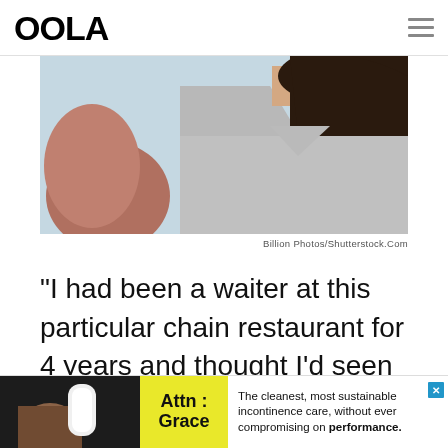OOLA
[Figure (photo): Close-up photo of a person with dark hair in a grey v-neck shirt, partially visible, light blue background]
Billion Photos/Shutterstock.Com
“I had been a waiter at this particular chain restaurant for 4 years and thought I’d seen it all on holidays. There is one particular Valentine’s Day I had to work about 5 years ago
[Figure (other): Advertisement banner: Attn: Grace. The cleanest, most sustainable incontinence care, without ever compromising on performance.]